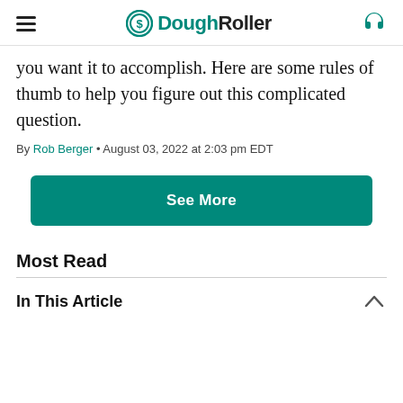DoughRoller
you want it to accomplish. Here are some rules of thumb to help you figure out this complicated question.
By Rob Berger • August 03, 2022 at 2:03 pm EDT
[Figure (other): See More button — teal/green rounded rectangle button with white bold text 'See More']
Most Read
In This Article